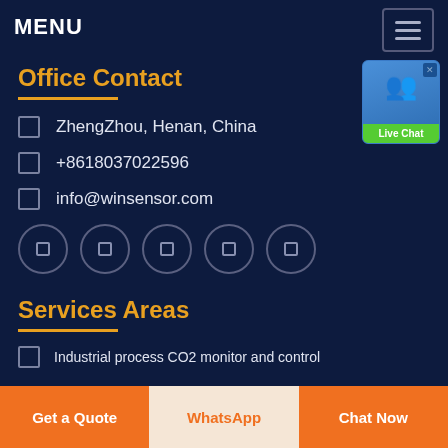MENU
Office Contact
ZhengZhou, Henan, China
+8618037022596
info@winsensor.com
[Figure (other): Row of 5 social media icon circles]
Services Areas
Industrial process CO2 monitor and control
[Figure (other): Live Chat widget in upper right corner]
Get a Quote | WhatsApp | Chat Now